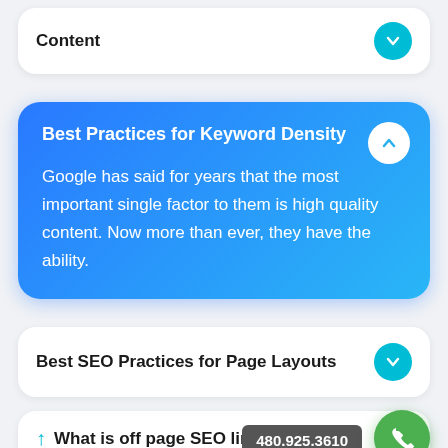Content
Best Practices for Keyword Density
Google has said for years that the most important single factor to them is high quality content. Now more than ever, they have the ability.
Best SEO Practices for Page Layouts
What is off page SEO link building?
480.925.3610